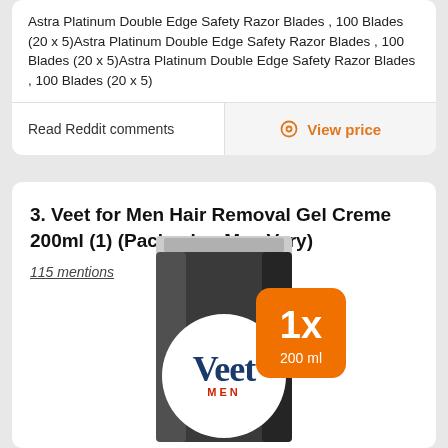Astra Platinum Double Edge Safety Razor Blades , 100 Blades (20 x 5)Astra Platinum Double Edge Safety Razor Blades , 100 Blades (20 x 5)Astra Platinum Double Edge Safety Razor Blades , 100 Blades (20 x 5)
Read Reddit comments
View price
3. Veet for Men Hair Removal Gel Creme 200ml (1) (Packaging May Vary)
115 mentions
[Figure (photo): Veet for Men Hair Removal Gel Creme product tube in dark grey/black packaging with white Veet logo circle and orange badge showing 1x 200ml]